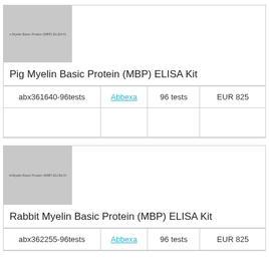[Figure (photo): Pig Myelin Basic Protein (MBP) ELISA Kit product image placeholder, gray rectangle with text label]
Pig Myelin Basic Protein (MBP) ELISA Kit
| abx361640-96tests | Abbexa | 96 tests | EUR 825 |
[Figure (photo): Rabbit Myelin Basic Protein (MBP) ELISA Kit product image placeholder, gray rectangle with text label]
Rabbit Myelin Basic Protein (MBP) ELISA Kit
| abx362255-96tests | Abbexa | 96 tests | EUR 825 |